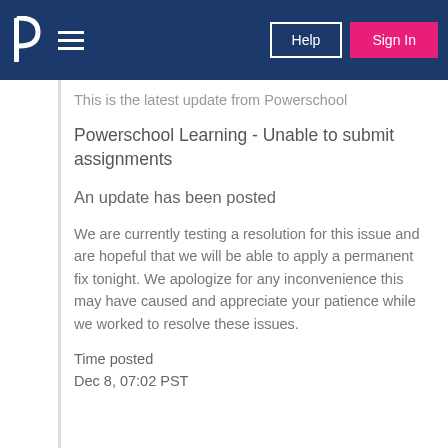Powerschool — Help | Sign In
This is the latest update from Powerschool
Powerschool Learning - Unable to submit assignments
An update has been posted
We are currently testing a resolution for this issue and are hopeful that we will be able to apply a permanent fix tonight. We apologize for any inconvenience this may have caused and appreciate your patience while we worked to resolve these issues.
Time posted
Dec 8, 07:02 PST